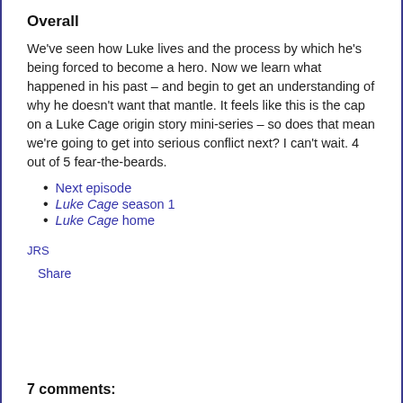Overall
We've seen how Luke lives and the process by which he's being forced to become a hero. Now we learn what happened in his past – and begin to get an understanding of why he doesn't want that mantle. It feels like this is the cap on a Luke Cage origin story mini-series – so does that mean we're going to get into serious conflict next? I can't wait. 4 out of 5 fear-the-beards.
Next episode
Luke Cage season 1
Luke Cage home
JRS
Share
7 comments: